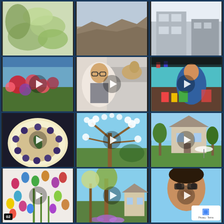[Figure (photo): Grid of 12 social media video thumbnails in a 3x4 layout on dark blue background. Row 1: plant/flowers, rocky landscape, rooftop/architecture. Row 2: flower market with play button, man with glasses in kitchen with dog play button, colorful kitchen cooking show play button. Row 3: blueberries in bowl play button, white flowering tree play button, English garden/house play button. Row 4: colorful Easter eggs play button with '02' badge, garden/tree play button, man selfie play button with reCAPTCHA overlay.]